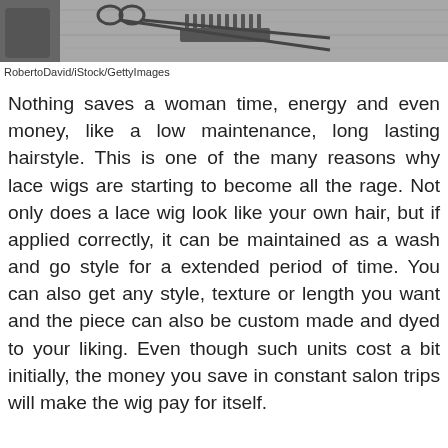[Figure (photo): Black and white photo showing hair styling tools including scissors and a comb on a wooden surface]
RobertoDavid/iStock/GettyImages
Nothing saves a woman time, energy and even money, like a low maintenance, long lasting hairstyle. This is one of the many reasons why lace wigs are starting to become all the rage. Not only does a lace wig look like your own hair, but if applied correctly, it can be maintained as a wash and go style for a extended period of time. You can also get any style, texture or length you want and the piece can also be custom made and dyed to your liking. Even though such units cost a bit initially, the money you save in constant salon trips will make the wig pay for itself.